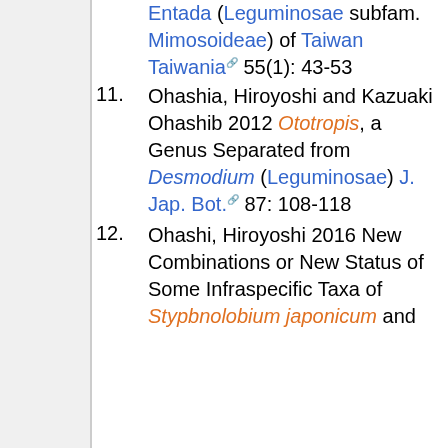(continuation) Entada (Leguminosae subfam. Mimosoideae) of Taiwan Taiwania 55(1): 43-53
11. Ohashia, Hiroyoshi and Kazuaki Ohashib 2012 Ototropis, a Genus Separated from Desmodium (Leguminosae) J. Jap. Bot. 87: 108-118
12. Ohashi, Hiroyoshi 2016 New Combinations or New Status of Some Infraspecific Taxa of Stypbnolobium japonicum and